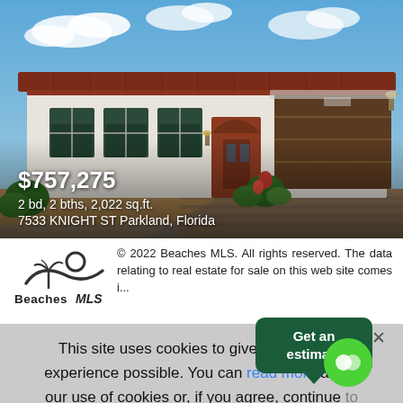[Figure (photo): Exterior photo of a single-story Florida home at 7533 Knight St Parkland with white stucco walls, red tile roof, arched windows, and a large garage]
$757,275
2 bd, 2 bths, 2,022 sq.ft.
7533 KNIGHT ST Parkland, Florida
[Figure (logo): Beaches MLS logo with wave/sun graphic and 'BeachesMLS' text]
© 2022 Beaches MLS. All rights reserved. The data relating to real estate for sale on this web site comes i...
This site uses cookies to give you th... experience possible. You can read more abo... our use of cookies or, if you agree, continue... use the site as you normally would.
Get an estimate